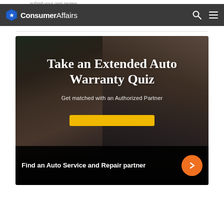submit your own review.
ConsumerAffairs
[Figure (photo): A person leaning under the hood of a car, working on the engine. Dark, moody automotive repair scene used as hero image background.]
Take an Extended Auto Warranty Quiz
Get matched with an Authorized Partner
Find an Auto Service and Repair partner